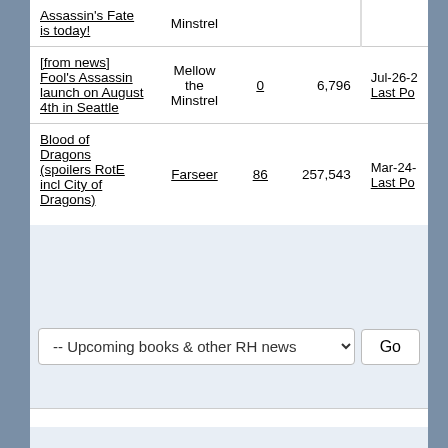| Topic | Forum | Replies | Views | Last Post |
| --- | --- | --- | --- | --- |
| Assassin's Fate is today! | Minstrel |  |  |  |
| [from news] Fool's Assassin launch on August 4th in Seattle | Mellow the Minstrel | 0 | 6,796 | Jul-26-2...
Last Po... |
| Blood of Dragons (spoilers RotE incl City of Dragons) | Farseer | 86 | 257,543 | Mar-24-...
Last Po... |
-- Upcoming books & other RH news  Go